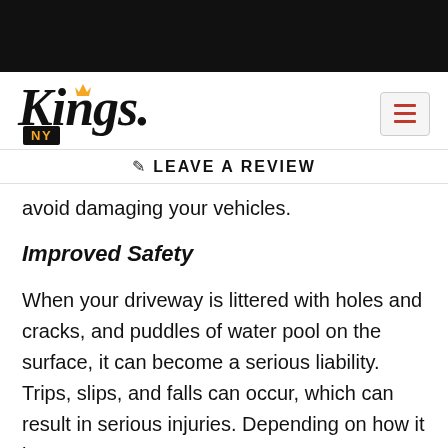[Figure (logo): Kings NY logo with crown and stylized script text, plus a hamburger menu icon]
✏ LEAVE A REVIEW
avoid damaging your vehicles.
Improved Safety
When your driveway is littered with holes and cracks, and puddles of water pool on the surface, it can become a serious liability. Trips, slips, and falls can occur, which can result in serious injuries. Depending...